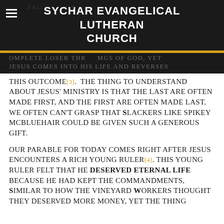SYCHAR EVANGELICAL LUTHERAN CHURCH
THIS OUTCOME[3].  THE THING TO UNDERSTAND ABOUT JESUS' MINISTRY IS THAT THE LAST ARE OFTEN MADE FIRST, AND THE FIRST ARE OFTEN MADE LAST.  WE OFTEN CAN'T GRASP THAT SLACKERS LIKE SPIKEY MCBLUEHAIR COULD BE GIVEN SUCH A GENEROUS GIFT.
OUR PARABLE FOR TODAY COMES RIGHT AFTER JESUS ENCOUNTERS A RICH YOUNG RULER[4]. THIS YOUNG RULER FELT THAT HE DESERVED ETERNAL LIFE BECAUSE HE HAD KEPT THE COMMANDMENTS, SIMILAR TO HOW THE VINEYARD WORKERS THOUGHT THEY DESERVED MORE MONEY, YET THE THING